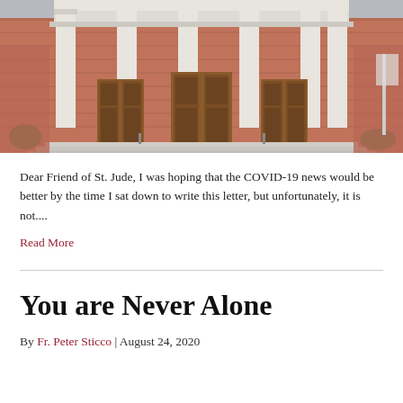[Figure (photo): Exterior photograph of St. Jude church building showing a red brick facade with large white columns and wooden doors at the entrance, with steps leading up to the entrance.]
Dear Friend of St. Jude, I was hoping that the COVID-19 news would be better by the time I sat down to write this letter, but unfortunately, it is not....
Read More
You are Never Alone
By Fr. Peter Sticco | August 24, 2020